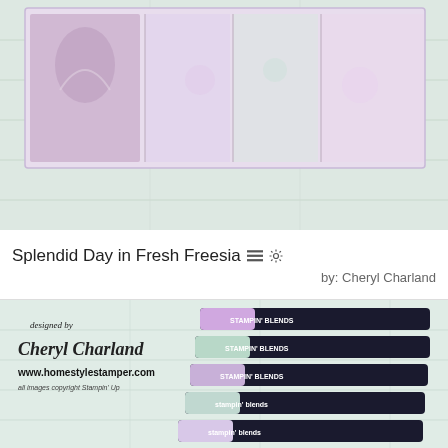[Figure (photo): Photo of a handmade stamped card featuring Splendid Day design in Fresh Freesia colors, shown on a light wood background with pastel tones of purple, mint, and green.]
Splendid Day in Fresh Freesia
by: Cheryl Charland
[Figure (photo): Photo showing Stampin' Blends markers in pastel colors (purple, mint green) alongside stamped card elements. Watermark overlay reads 'designed by Cheryl Charland www.homestylestamper.com all images copyright Stampin Up'.]